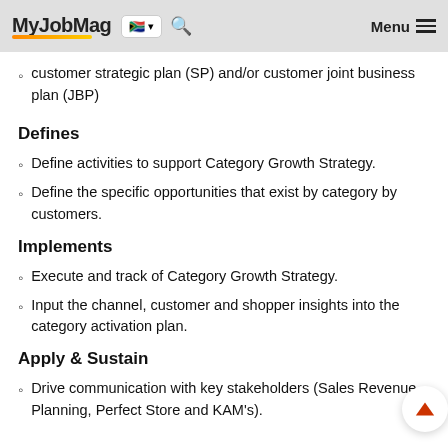MyJobMag [South Africa flag] [search] Menu
customer strategic plan (SP) and/or customer joint business plan (JBP)
Defines
Define activities to support Category Growth Strategy.
Define the specific opportunities that exist by category by customers.
Implements
Execute and track of Category Growth Strategy.
Input the channel, customer and shopper insights into the category activation plan.
Apply & Sustain
Drive communication with key stakeholders (Sales Revenue Planning, Perfect Store and KAM's).